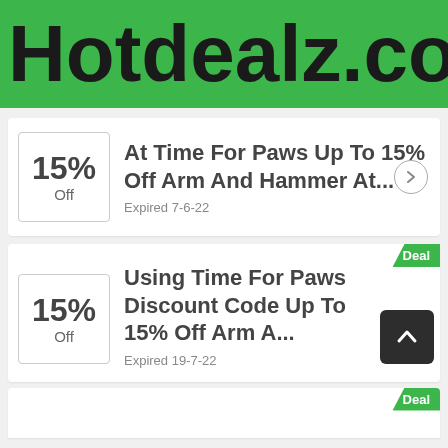Hotdealz.co.uk
15% Off — At Time For Paws Up To 15% Off Arm And Hammer At... — Expired 7-6-22
15% Off — Using Time For Paws Discount Code Up To 15% Off Arm A... — Expired 19-7-22